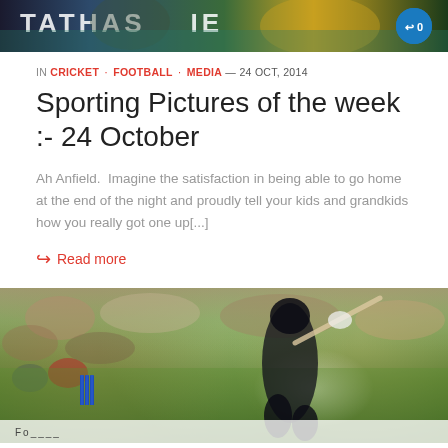[Figure (photo): Cropped top banner image showing sports players with text overlay, partially visible]
IN CRICKET · FOOTBALL · MEDIA — 24 OCT, 2014
Sporting Pictures of the week :- 24 October
Ah Anfield.  Imagine the satisfaction in being able to go home at the end of the night and proudly tell your kids and grandkids how you really got one up[...]
Read more
[Figure (photo): Cricket player in black New Zealand uniform batting, with crowd and green field in background, blue stumps visible at bottom left]